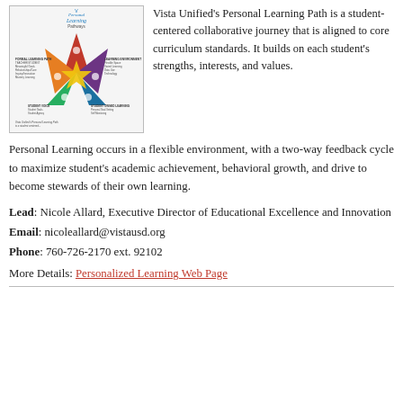[Figure (infographic): Vista Unified's Personal Learning Path infographic showing a colorful star shape with five points in red, purple, green, blue, and orange, each representing a different learning component, with text labels around the star and the title 'Personal Learning Pathways' at the top.]
Vista Unified's Personal Learning Path is a student-centered collaborative journey that is aligned to core curriculum standards. It builds on each student's strengths, interests, and values.
Personal Learning occurs in a flexible environment, with a two-way feedback cycle to maximize student's academic achievement, behavioral growth, and drive to become stewards of their own learning.
Lead: Nicole Allard, Executive Director of Educational Excellence and Innovation
Email: nicoleallard@vistausd.org
Phone: 760-726-2170 ext. 92102
More Details: Personalized Learning Web Page